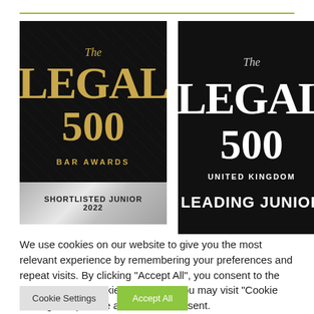[Figure (logo): The Legal 500 Bar Awards - Shortlisted Junior 2022 badge with gold text on black background and silver banner]
[Figure (logo): The Legal 500 United Kingdom - Leading Junior badge with white text on black background]
We use cookies on our website to give you the most relevant experience by remembering your preferences and repeat visits. By clicking “Accept All”, you consent to the use of ALL the cookies. However, you may visit “Cookie Settings” to provide a controlled consent.